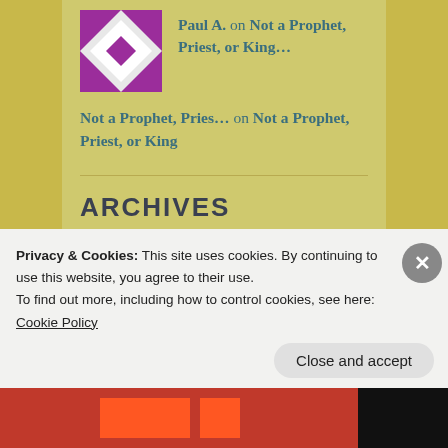Paul A. on Not a Prophet, Priest, or King…
Not a Prophet, Pries… on Not a Prophet, Priest, or King
ARCHIVES
December 2018
November 2018
August 2018
May 2018
March 2018
Privacy & Cookies: This site uses cookies. By continuing to use this website, you agree to their use.
To find out more, including how to control cookies, see here: Cookie Policy
Close and accept